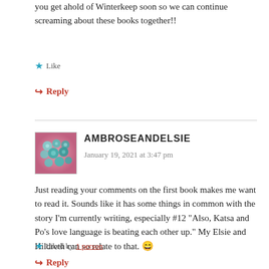you get ahold of Winterkeep soon so we can continue screaming about these books together!!
Like
Reply
AMBROSEANDELSIE
January 19, 2021 at 3:47 pm
[Figure (photo): Avatar image with blue-green glass marbles on pink background]
Just reading your comments on the first book makes me want to read it. Sounds like it has some things in common with the story I'm currently writing, especially #12 "Also, Katsa and Po's love language is beating each other up." My Elsie and Hildreth can so relate to that. 😄
Liked by 1 person
Reply